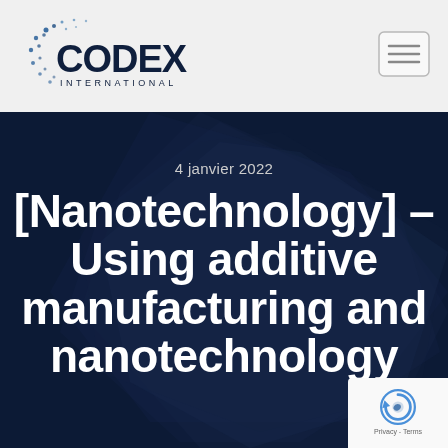[Figure (logo): Codex International logo — circular dot pattern with text CODEX INTERNATIONAL in dark navy blue]
[Figure (other): Hamburger menu button (three horizontal lines) in a rounded rectangle border]
[Figure (photo): Dark navy blue hero banner with subtle geometric polygon shapes in the background]
4 janvier 2022
[Nanotechnology] – Using additive manufacturing and nanotechnology